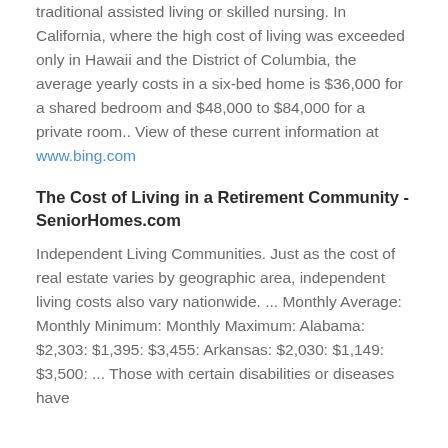traditional assisted living or skilled nursing. In California, where the high cost of living was exceeded only in Hawaii and the District of Columbia, the average yearly costs in a six-bed home is $36,000 for a shared bedroom and $48,000 to $84,000 for a private room.. View of these current information at www.bing.com
The Cost of Living in a Retirement Community - SeniorHomes.com
Independent Living Communities. Just as the cost of real estate varies by geographic area, independent living costs also vary nationwide. ... Monthly Average: Monthly Minimum: Monthly Maximum: Alabama: $2,303: $1,395: $3,455: Arkansas: $2,030: $1,149: $3,500: ... Those with certain disabilities or diseases have